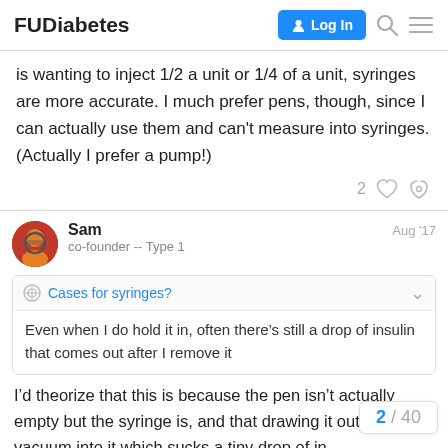FUDiabetes
is wanting to inject 1/2 a unit or 1/4 of a unit, syringes are more accurate. I much prefer pens, though, since I can actually use them and can't measure into syringes. (Actually I prefer a pump!)
2 likes
Sam  Aug '17
co-founder -- Type 1
Cases for syringes?
Even when I do hold it in, often there’s still a drop of insulin that comes out after I remove it
I’d theorize that this is because the pen isn’t actually empty but the syringe is, and that drawing it out of yo vacuum into it which sucks a tiny drop of in
2 / 40